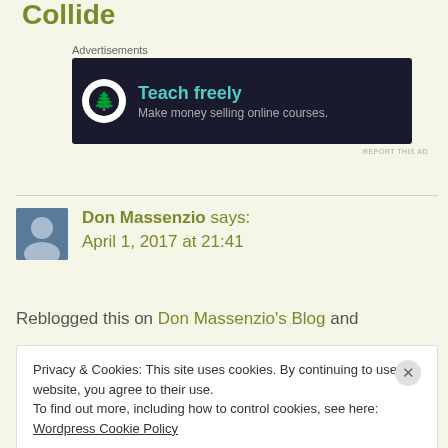Collide
Advertisements
[Figure (other): Advertisement banner: dark background with bonsai tree icon, 'Teach freely – Make money selling online courses.']
Don Massenzio says: April 1, 2017 at 21:41
Reblogged this on Don Massenzio's Blog and
Privacy & Cookies: This site uses cookies. By continuing to use this website, you agree to their use.
To find out more, including how to control cookies, see here: Wordpress Cookie Policy
CLOSE & ACCEPT